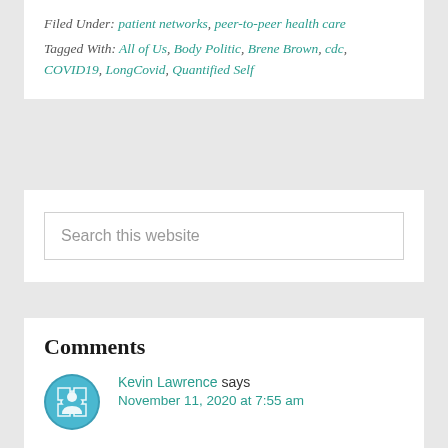Filed Under: patient networks, peer-to-peer health care
Tagged With: All of Us, Body Politic, Brene Brown, cdc, COVID19, LongCovid, Quantified Self
Search this website
Comments
Kevin Lawrence says November 11, 2020 at 7:55 am